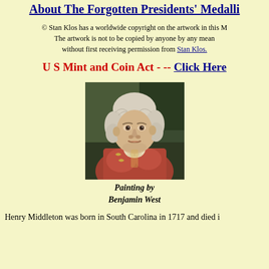About The Forgotten Presidents' Medalli
© Stan Klos has a worldwide copyright on the artwork in this M The artwork is not to be copied by anyone by any means without first receiving permission from Stan Klos.
U S Mint and Coin Act - -- Click Here
[Figure (photo): Portrait painting of Henry Middleton by Benjamin West, showing an 18th century gentleman with white powdered hair wearing formal attire with a reddish-orange jacket.]
Painting by Benjamin West
Henry Middleton was born in South Carolina in 1717 and died i